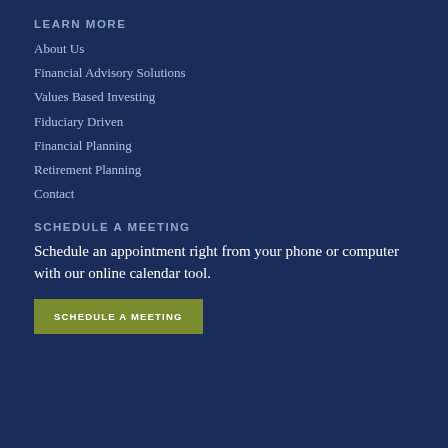LEARN MORE
About Us
Financial Advisory Solutions
Values Based Investing
Fiduciary Driven
Financial Planning
Retirement Planning
Contact
SCHEDULE A MEETING
Schedule an appointment right from your phone or computer with our online calendar tool.
SCHEDULE A MEETING